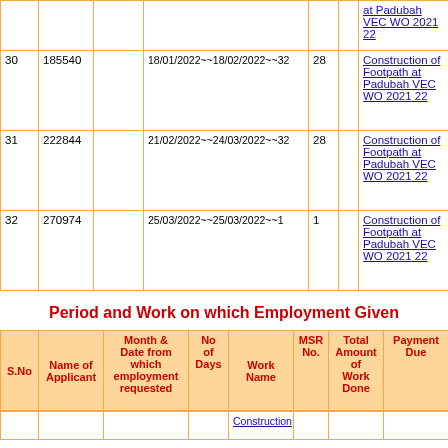|  |  |  |  |  |  |  |
| --- | --- | --- | --- | --- | --- | --- |
|  |  |  |  |  |  | at Padubah VEC WO 2021 22 |
| 30 | 185540 |  | 18/01/2022~~18/02/2022~~32 | 28 |  | Construction of Footpath at Padubah VEC WO 2021 22 |
| 31 | 222844 |  | 21/02/2022~~24/03/2022~~32 | 28 |  | Construction of Footpath at Padubah VEC WO 2021 22 |
| 32 | 270974 |  | 25/03/2022~~25/03/2022~~1 | 1 |  | Construction of Footpath at Padubah VEC WO 2021 22 |
Period and Work on which Employment Given
| S.No | Name of Applicant | Month & Date from which employment requested | No of Days | Work Name | MSR No. | Total Amount of Work Done | Payment Due |
| --- | --- | --- | --- | --- | --- | --- | --- |
|  |  |  |  | Construction of... |  |  |  |